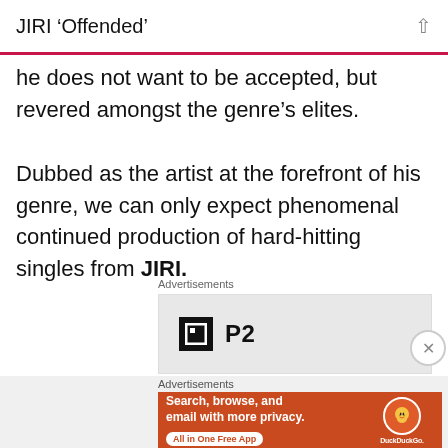JIRI 'Offended'
he does not want to be accepted, but revered amongst the genre's elites.

Dubbed as the artist at the forefront of his genre, we can only expect phenomenal continued production of hard-hitting singles from JIRI.
Advertisements
[Figure (logo): P2 logo advertisement box with black square icon and P2 text]
Advertisements
[Figure (infographic): DuckDuckGo advertisement: orange banner with text 'Search, browse, and email with more privacy. All in One Free App' and DuckDuckGo duck logo on right]